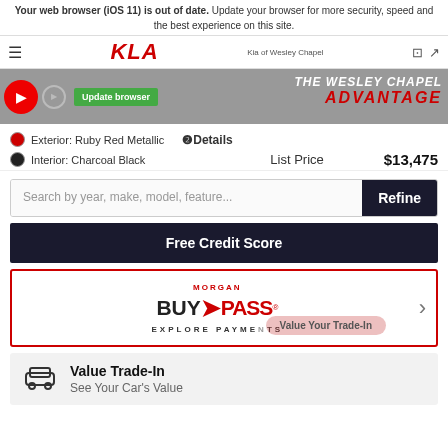Your web browser (iOS 11) is out of date. Update your browser for more security, speed and the best experience on this site.
[Figure (screenshot): Kia of Wesley Chapel navigation bar with hamburger menu, Kia logo, dealer name, and icons]
[Figure (screenshot): Dealer banner showing video thumbnails, Update browser button, and THE WESLEY CHAPEL ADVANTAGE text in red]
Exterior: Ruby Red Metallic
Interior: Charcoal Black
❷Details
List Price  $13,475
Search by year, make, model, feature...
Refine
Free Credit Score
[Figure (logo): Morgan BUYPASS logo with EXPLORE PAYMENTS text and Value Your Trade-In overlay]
Value Trade-In
See Your Car's Value